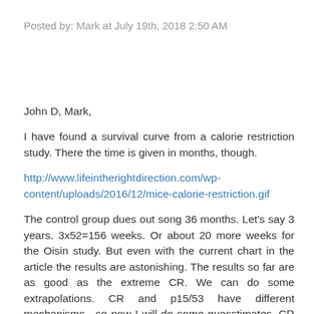Posted by: Mark at July 19th, 2018 2:50 AM
John D, Mark,
I have found a survival curve from a calorie restriction study. There the time is given in months, though.
http://www.lifeintherightdirection.com/wp-content/uploads/2016/12/mice-calorie-restriction.gif
The control group dues out song 36 months. Let's say 3 years. 3x52=156 weeks. Or about 20 more weeks for the Oisin study. But even with the current chart in the article the results are astonishing. The results so far are as good as the extreme CR. We can do some extrapolations. CR and p15/53 have different mechanisms , so now I will do some guesstimates. CR had broader metabolic effect. It promotes